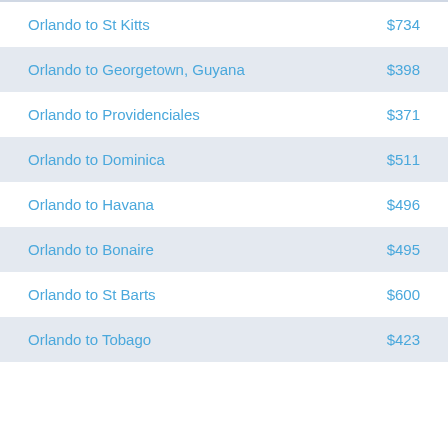Orlando to St Kitts  $734
Orlando to Georgetown, Guyana  $398
Orlando to Providenciales  $371
Orlando to Dominica  $511
Orlando to Havana  $496
Orlando to Bonaire  $495
Orlando to St Barts  $600
Orlando to Tobago  $423